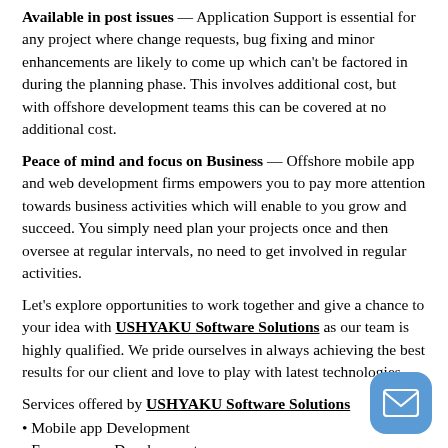Available in post issues — Application Support is essential for any project where change requests, bug fixing and minor enhancements are likely to come up which can't be factored in during the planning phase. This involves additional cost, but with offshore development teams this can be covered at no additional cost.
Peace of mind and focus on Business — Offshore mobile app and web development firms empowers you to pay more attention towards business activities which will enable to you grow and succeed. You simply need plan your projects once and then oversee at regular intervals, no need to get involved in regular activities.
Let's explore opportunities to work together and give a chance to your idea with USHYAKU Software Solutions as our team is highly qualified. We pride ourselves in always achieving the best results for our client and love to play with latest technologies
Services offered by USHYAKU Software Solutions
• Mobile app Development
• E-commerce Development
• Web Development
• Cross-Platform Development
• Application Support
[Figure (other): Blue rounded square mail/email button icon in bottom right corner]